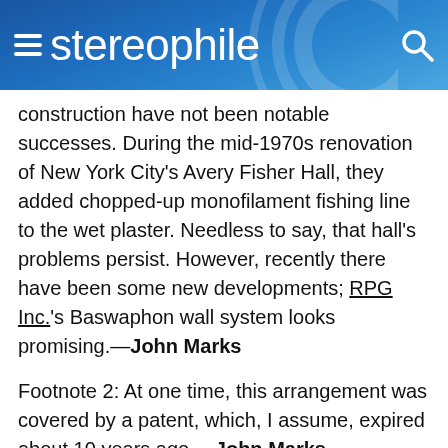stereophile
construction have not been notable successes. During the mid-1970s renovation of New York City's Avery Fisher Hall, they added chopped-up monofilament fishing line to the wet plaster. Needless to say, that hall's problems persist. However, recently there have been some new developments; RPG Inc.'s Baswaphon wall system looks promising.—John Marks
Footnote 2: At one time, this arrangement was covered by a patent, which, I assume, expired about 10 years ago.—John Marks
Footnote 3: Another possible benefit of directing the midrange and treble at the ceiling is that the direct